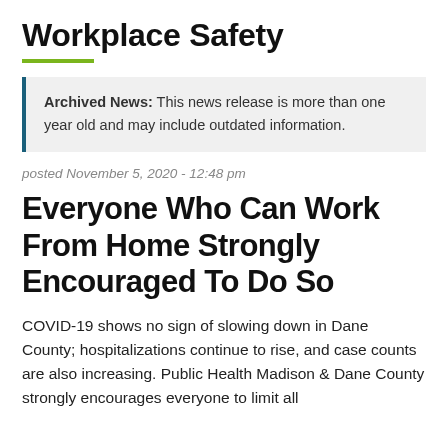Workplace Safety
Archived News: This news release is more than one year old and may include outdated information.
posted November 5, 2020 - 12:48 pm
Everyone Who Can Work From Home Strongly Encouraged To Do So
COVID-19 shows no sign of slowing down in Dane County; hospitalizations continue to rise, and case counts are also increasing. Public Health Madison & Dane County strongly encourages everyone to limit all